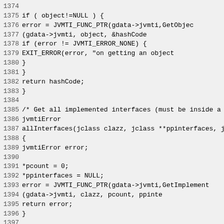Source code listing lines 1374-1403, C/JVMTI code
1374
1375     if ( object!=NULL ) {
1376         error = JVMTI_FUNC_PTR(gdata->jvmti,GetObjec
1377                         (gdata->jvmti, object, &hashCode
1378         if (error != JVMTI_ERROR_NONE) {
1379             EXIT_ERROR(error, "on getting an object
1380         }
1381     }
1382     return hashCode;
1383 }
1384
1385 /* Get all implemented interfaces (must be inside a
1386 jvmtiError
1387 allInterfaces(jclass clazz, jclass **ppinterfaces, j
1388 {
1389     jvmtiError error;
1390
1391     *pcount = 0;
1392     *ppinterfaces = NULL;
1393     error = JVMTI_FUNC_PTR(gdata->jvmti,GetImplement
1394                     (gdata->jvmti, clazz, pcount, ppinte
1395     return error;
1396 }
1397
1398 /* Get all loaded classes (must be inside a WITH_LOC
1399 jvmtiError
1400 allLoadedClasses(jclass **ppclasses, jint *pcount)
1401 {
1402     jvmtiError error;
1403